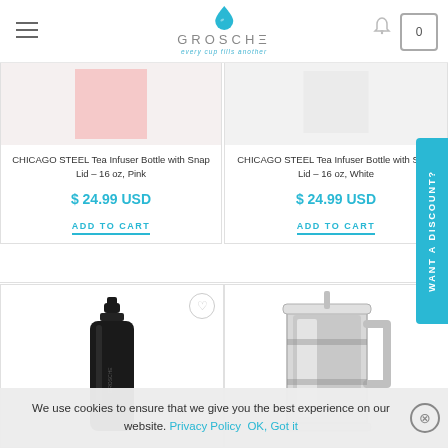GROSCHE — every cup fills another
CHICAGO STEEL Tea Infuser Bottle with Snap Lid – 16 oz, Pink
$ 24.99 USD
ADD TO CART
CHICAGO STEEL Tea Infuser Bottle with Snap Lid – 16 oz, White
$ 24.99 USD
ADD TO CART
[Figure (photo): Black GROSCHE bottle product photo]
[Figure (photo): Stainless steel French press or insulated mug product photo]
WANT A DISCOUNT?
We use cookies to ensure that we give you the best experience on our website. Privacy Policy  OK, Got it